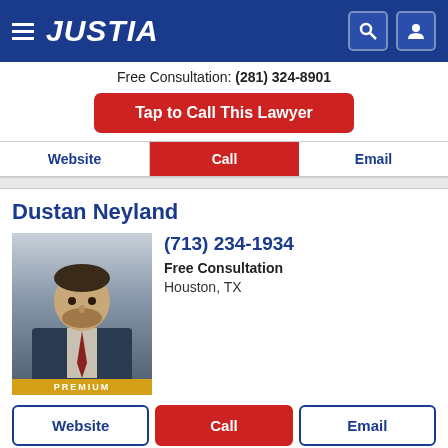JUSTIA
Free Consultation: (281) 324-8901
Tap to Call This Lawyer
Website | Call | Email
Dustan Neyland
(713) 234-1934
Free Consultation
Houston, TX
[Figure (photo): Professional headshot of attorney Dustan Neyland in a dark suit with PREMIUM badge]
Website | Call | Email
Recent (1) | Saved (0) | Compare (0/3)